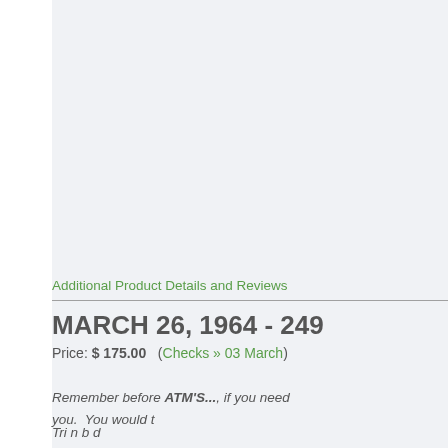Additional Product Details and Reviews
MARCH 26, 1964 - 249
Price: $ 175.00   (Checks » 03 March)
Remember before ATM'S..., if you need... you. You would t
Trin b d...